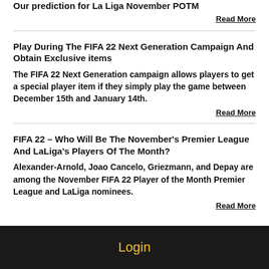Our prediction for La Liga November POTM
Read More
Play During The FIFA 22 Next Generation Campaign And Obtain Exclusive items
The FIFA 22 Next Generation campaign allows players to get a special player item if they simply play the game between December 15th and January 14th.
Read More
FIFA 22 – Who Will Be The November's Premier League And LaLiga's Players Of The Month?
Alexander-Arnold, Joao Cancelo, Griezmann, and Depay are among the November FIFA 22 Player of the Month Premier League and LaLiga nominees.
Read More
Login